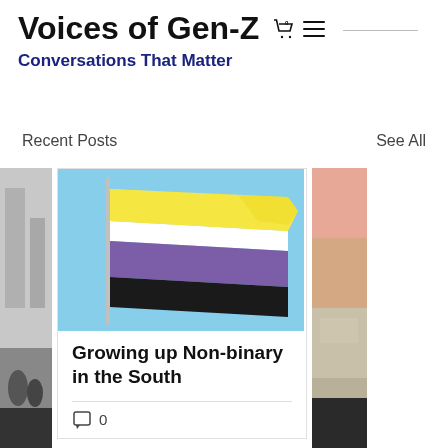Voices of Gen-Z  Conversations That Matter
Recent Posts
See All
[Figure (photo): Partial left card image showing people on a street]
[Figure (photo): Non-binary pride flag (yellow, white, purple, black horizontal stripes) on a pole against a blue sky]
[Figure (photo): Partial right card showing muted peach/tan color blocks]
Growing up Non-binary in the South
0